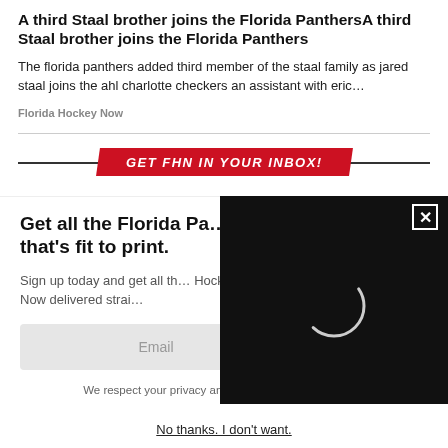A third Staal brother joins the Florida PanthersA third Staal brother joins the Florida Panthers
The florida panthers added third member of the staal family as jared staal joins the ahl charlotte checkers an assistant with eric…
Florida Hockey Now
[Figure (infographic): Red diagonal banner with white italic bold text: GET FHN IN YOUR INBOX!]
Get all the Florida Pa… that's fit to print.
Sign up today and get all th… Hockey Now delivered strai…
Email
SIGN UP!
We respect your privacy and take protecting it seriously
[Figure (screenshot): Black video player overlay with a loading spinner circle and a white X close button in the top right corner]
No thanks. I don't want.